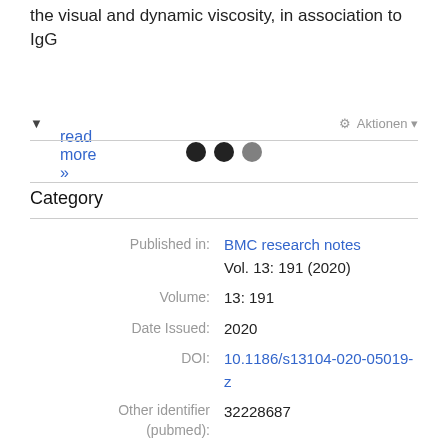the visual and dynamic viscosity, in association to IgG
read more »
Category
| Field | Value |
| --- | --- |
| Published in: | BMC research notes Vol. 13: 191 (2020) |
| Volume: | 13: 191 |
| Date Issued: | 2020 |
| DOI: | 10.1186/s13104-020-05019-z |
| Other identifier (pubmed): | 32228687 |
| Language: | English |